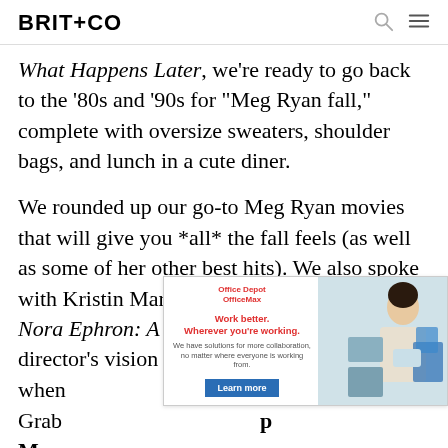BRIT+CO
What Happens Later, we're ready to go back to the '80s and '90s for "Meg Ryan fall," complete with oversize sweaters, shoulder bags, and lunch in a cute diner.
We rounded up our go-to Meg Ryan movies that will give you *all* the fall feels (as well as some of her other best hits). We also spoke with Kristin Marguerite Doidge, the author of Nora Ephron: A Biography, for a look into the director's vision when . Grab  p Macc ur
[Figure (other): Office Depot OfficeMax advertisement with text 'Work better. Wherever you're working. We have solutions for more collaboration, no matter where everyone is working from.' and a Learn more button, alongside a photo of a woman in an office setting.]